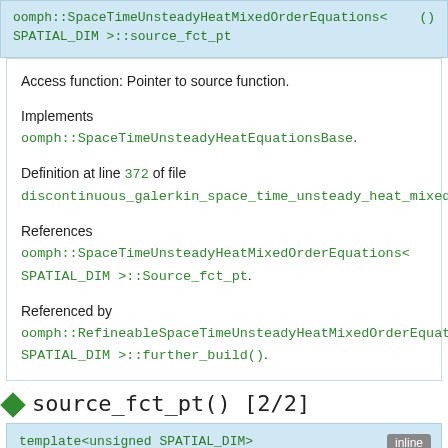oomph::SpaceTimeUnsteadyHeatMixedOrderEquations< SPATIAL_DIM >::source_fct_pt ()
Access function: Pointer to source function.
Implements oomph::SpaceTimeUnsteadyHeatEquationsBase.
Definition at line 372 of file discontinuous_galerkin_space_time_unsteady_heat_mixed_order_...
References oomph::SpaceTimeUnsteadyHeatMixedOrderEquations< SPATIAL_DIM >::Source_fct_pt.
Referenced by oomph::RefineableSpaceTimeUnsteadyHeatMixedOrderEquations< SPATIAL_DIM >::further_build().
source_fct_pt() [2/2]
template<unsigned SPATIAL_DIM>
SpaceTimeUnsteadyHeatSourceFctPt